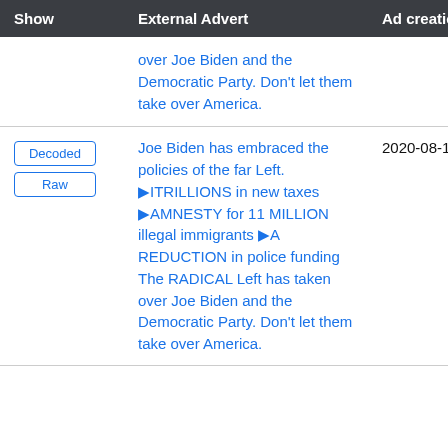| Show | External Advert | Ad creation time |
| --- | --- | --- |
|  | over Joe Biden and the Democratic Party. Don't let them take over America. |  |
| Decoded
Raw | Joe Biden has embraced the policies of the far Left. ►ITRILLIONS in new taxes ►AMNESTY for 11 MILLION illegal immigrants ►A REDUCTION in police funding The RADICAL Left has taken over Joe Biden and the Democratic Party. Don't let them take over America. | 2020-08-18 20:51:28 UTC |